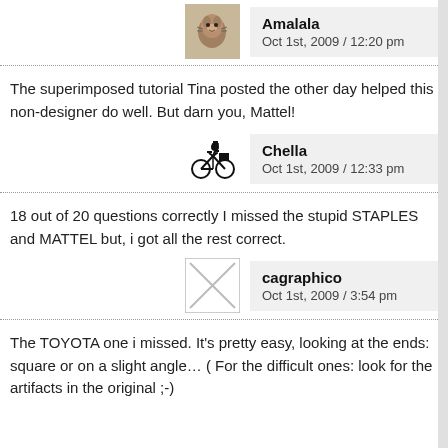[Figure (illustration): Avatar of user Amalala - stylized cat/creature sketch]
Amalala
Oct 1st, 2009 / 12:20 pm
The superimposed tutorial Tina posted the other day helped this non-designer do well. But darn you, Mattel!
[Figure (illustration): Avatar of user Chella - person on bicycle with equipment]
Chella
Oct 1st, 2009 / 12:33 pm
18 out of 20 questions correctly I missed the stupid STAPLES and MATTEL but, i got all the rest correct.
[Figure (illustration): Avatar placeholder - box with X through it (missing image)]
cagraphico
Oct 1st, 2009 / 3:54 pm
The TOYOTA one i missed. It's pretty easy, looking at the ends: square or on a slight angle… ( For the difficult ones: look for the artifacts in the original ;-)